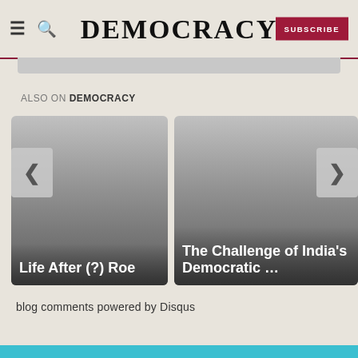DEMOCRACY — SUBSCRIBE
[Figure (screenshot): Gray placeholder bar below header]
ALSO ON DEMOCRACY
[Figure (illustration): Card with title 'Life After (?) Roe' — gradient gray image card]
[Figure (illustration): Card with title 'The Challenge of India's Democratic …' — gradient gray image card]
blog comments powered by Disqus